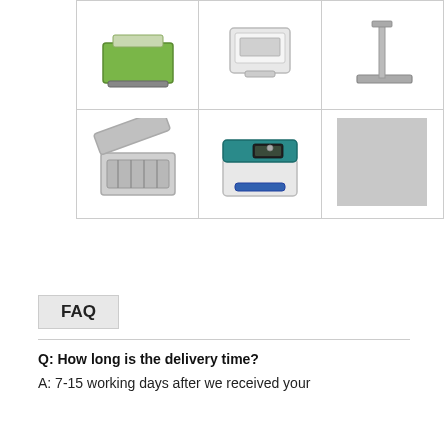[Figure (photo): 3x2 grid of product images: top row shows three laboratory/industrial devices (a green/metal scale, a white scale, a stand/pole device). Bottom row shows a water bath/incubator, a teal/white analytical instrument, and a gray placeholder square.]
FAQ
Q: How long is the delivery time?
A: 7-15 working days after we received your